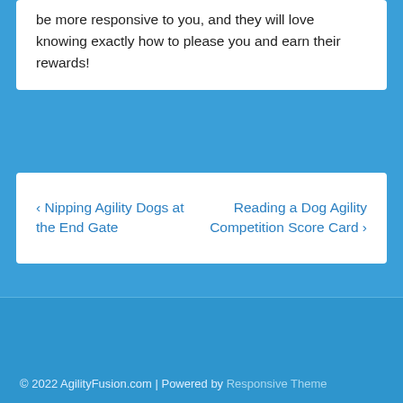be more responsive to you, and they will love knowing exactly how to please you and earn their rewards!
‹ Nipping Agility Dogs at the End Gate
Reading a Dog Agility Competition Score Card ›
[Figure (logo): Facebook icon (letter f) in white on blue background]
© 2022 AgilityFusion.com | Powered by Responsive Theme